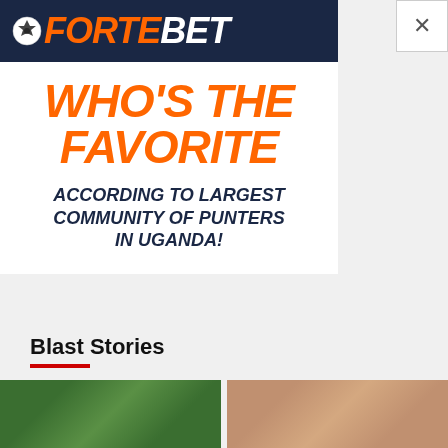[Figure (advertisement): ForteBet advertisement banner. Top dark navy bar with ForteBet logo (orange italic text with soccer ball icon, white BET). Below: white background with large orange italic bold text 'WHO'S THE FAVORITE' and dark navy bold italic text 'ACCORDING TO LARGEST COMMUNITY OF PUNTERS IN UGANDA!']
[Figure (other): Close (X) button in top-right corner of the ad overlay]
Blast Stories
[Figure (photo): Left photo thumbnail showing green foliage/outdoor scene]
[Figure (photo): Right photo thumbnail showing person with dark hair]